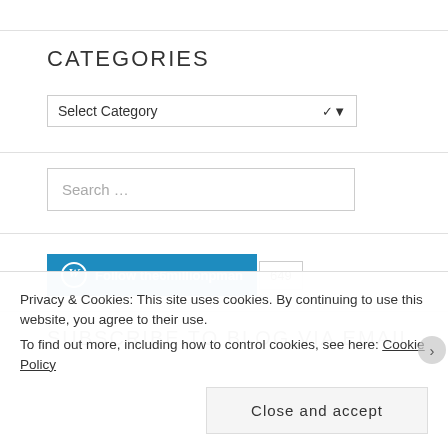CATEGORIES
[Figure (screenshot): Select Category dropdown widget]
[Figure (screenshot): Search ... input box]
[Figure (screenshot): Follow the6millionpman WordPress button with follower count 649]
SUBSCRIBE TO BLOG VIA EMAIL
Privacy & Cookies: This site uses cookies. By continuing to use this website, you agree to their use.
To find out more, including how to control cookies, see here: Cookie Policy
Close and accept